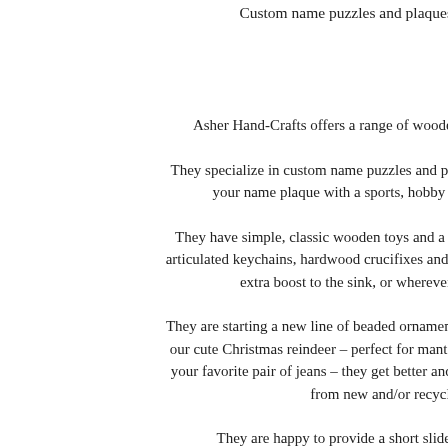Custom name puzzles and plaques, wooden toys and me...
Asher Hand-Crafts offers a range of wooden gifts and accessories for yo...
They specialize in custom name puzzles and plaques – either finished or unfinis... your name plaque with a sports, hobby or children's figure to mak...
They have simple, classic wooden toys and a range of fine wood accessories – articulated keychains, hardwood crucifixes and our own dovetailed stepstool – pe... extra boost to the sink, or wherever you need a "sturdy li...
They are starting a new line of beaded ornament covers and embellished marbelli... our cute Christmas reindeer – perfect for mantel or hearth. Don't forget the Dem... your favorite pair of jeans – they get better and better. Perfect for chilly football from new and/or recycled denim.
They are happy to provide a short slide demonstration of some o...
Asher Hand-Crafts offers a range of wooden gifts and accessories fo...